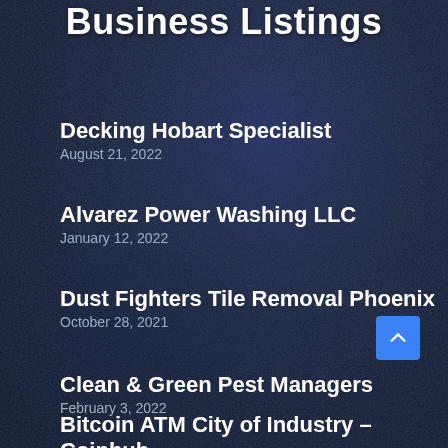Business Listings
Decking Hobart Specialist
August 21, 2022
Alvarez Power Washing LLC
January 12, 2022
Dust Fighters Tile Removal Phoenix
October 28, 2021
Clean & Green Pest Managers
February 3, 2022
Bitcoin ATM City of Industry – Coinhub